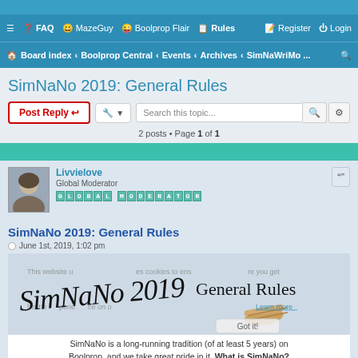SimNaNo 2019: General Rules — Boolprop.net forum page
SimNaNo 2019: General Rules
2 posts • Page 1 of 1
Livvielove
Global Moderator
GLOBAL MODERATOR
SimNaNo 2019: General Rules
June 1st, 2019, 1:02 pm
[Figure (illustration): SimNaNo 2019 General Rules banner with handwritten-style text 'SimNaNo 2019' on the left and 'General Rules' with a scroll graphic on the right]
SimNaNo is a long-running tradition (of at least 5 years) on Boolprop, and we take great pride in it. What is SimNaNo? Well, it's a writing month, akin to NaNoWriMo (National Novel